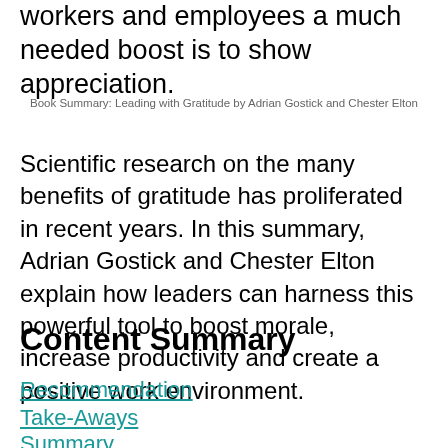workers and employees a much needed boost is to show appreciation.
Book Summary: Leading with Gratitude by Adrian Gostick and Chester Elton
Scientific research on the many benefits of gratitude has proliferated in recent years. In this summary, Adrian Gostick and Chester Elton explain how leaders can harness this powerful tool to boost morale, increase productivity and create a positive work environment.
Content Summary
Recommendation
Take-Aways
Summary